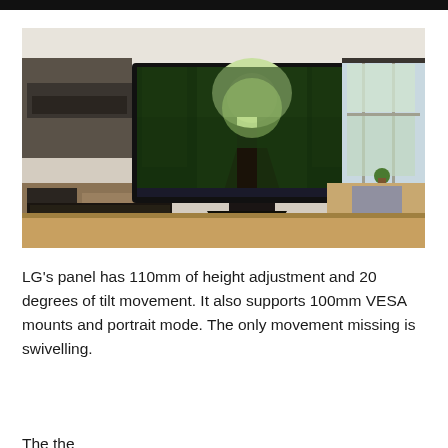[Figure (photo): An LG monitor sitting on a kitchen countertop, displaying a green forest pathway wallpaper. The kitchen background shows cabinets, a window with natural light, and household items.]
LG's panel has 110mm of height adjustment and 20 degrees of tilt movement. It also supports 100mm VESA mounts and portrait mode. The only movement missing is swivelling.
The the...